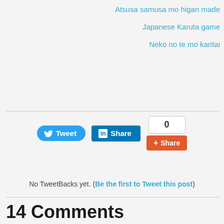Atsusa samusa mo higan made
Japanese Karuta game
Neko no te mo karitai
[Figure (screenshot): Social sharing buttons: Tweet (Twitter), Share (LinkedIn), Google+1 count box showing 0, Share button in orange]
No TweetBacks yet. (Be the first to Tweet this post)
14 Comments